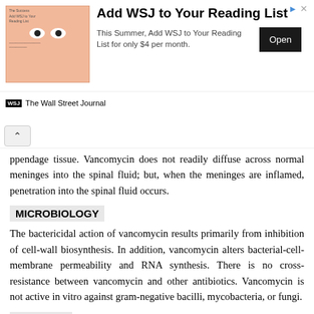[Figure (screenshot): WSJ advertisement banner: Add WSJ to Your Reading List for only $4 per month. Open button visible. The Wall Street Journal logo at bottom.]
appendage tissue. Vancomycin does not readily diffuse across normal meninges into the spinal fluid; but, when the meninges are inflamed, penetration into the spinal fluid occurs.
MICROBIOLOGY
The bactericidal action of vancomycin results primarily from inhibition of cell-wall biosynthesis. In addition, vancomycin alters bacterial-cell-membrane permeability and RNA synthesis. There is no cross-resistance between vancomycin and other antibiotics. Vancomycin is not active in vitro against gram-negative bacilli, mycobacteria, or fungi.
SYNERGY
The combination of vancomycin and aminoglycosides...